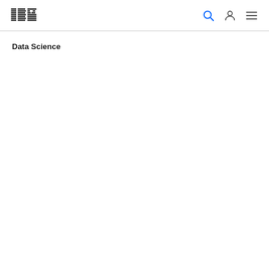IBM — Data Science
Data Science